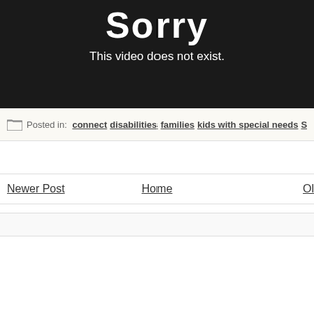[Figure (screenshot): Black video player error screen showing 'Sorry' in large white bold text and 'This video does not exist.' below it in white.]
Posted in: connect disabilities families kids with special needs Special needs ministr…
Newer Post    Home    Ol…